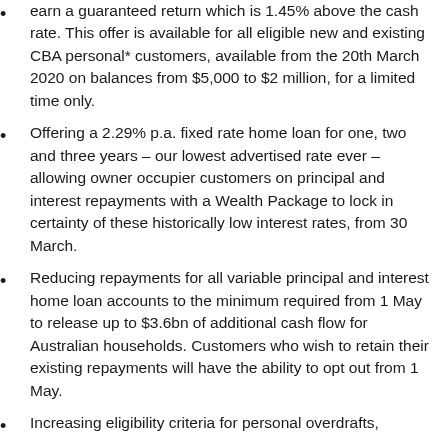earn a guaranteed return which is 1.45% above the cash rate. This offer is available for all eligible new and existing CBA personal* customers, available from the 20th March 2020 on balances from $5,000 to $2 million, for a limited time only.
Offering a 2.29% p.a. fixed rate home loan for one, two and three years – our lowest advertised rate ever – allowing owner occupier customers on principal and interest repayments with a Wealth Package to lock in certainty of these historically low interest rates, from 30 March.
Reducing repayments for all variable principal and interest home loan accounts to the minimum required from 1 May to release up to $3.6bn of additional cash flow for Australian households. Customers who wish to retain their existing repayments will have the ability to opt out from 1 May.
Increasing eligibility criteria for personal overdrafts,